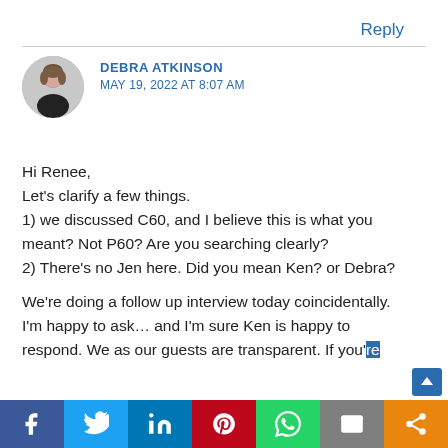Reply
DEBRA ATKINSON
MAY 19, 2022 AT 8:07 AM
Hi Renee,
Let's clarify a few things.
1) we discussed C60, and I believe this is what you meant? Not P60? Are you searching clearly?
2) There's no Jen here. Did you mean Ken? or Debra?

We're doing a follow up interview today coincidentally. I'm happy to ask… and I'm sure Ken is happy to respond. We as our guests are transparent. If you're